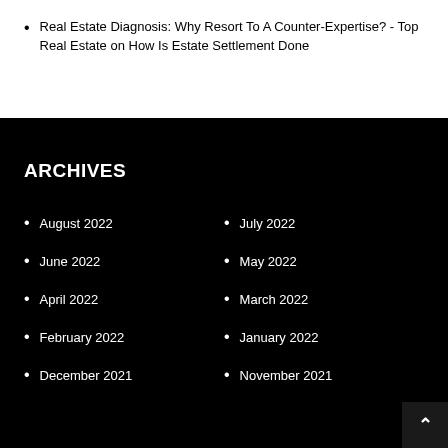Real Estate Diagnosis: Why Resort To A Counter-Expertise? - Top Real Estate on How Is Estate Settlement Done
ARCHIVES
August 2022
July 2022
June 2022
May 2022
April 2022
March 2022
February 2022
January 2022
December 2021
November 2021